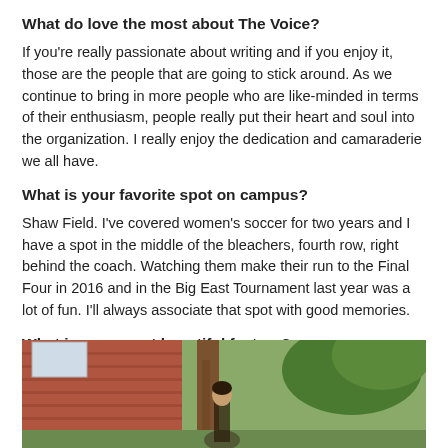What do love the most about The Voice?
If you're really passionate about writing and if you enjoy it, those are the people that are going to stick around. As we continue to bring in more people who are like-minded in terms of their enthusiasm, people really put their heart and soul into the organization. I really enjoy the dedication and camaraderie we all have.
What is your favorite spot on campus?
Shaw Field. I've covered women's soccer for two years and I have a spot in the middle of the bleachers, fourth row, right behind the coach. Watching them make their run to the Final Four in 2016 and in the Big East Tournament last year was a lot of fun. I'll always associate that spot with good memories.
What is your most beautiful feature?
I play soccer. My right foot.
[Figure (photo): Photo of a person standing outdoors near a tree with a brick building in the background]